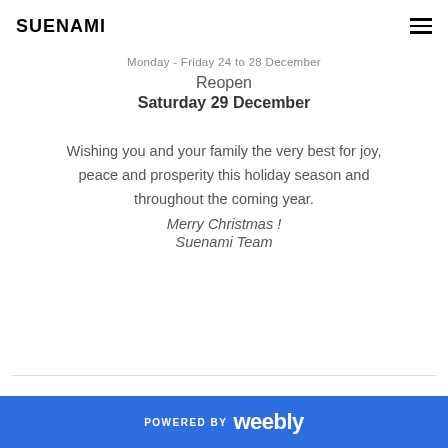SUENAMI
Monday - Friday 24 to 28 December
Reopen
Saturday 29 December
Wishing you and your family the very best for joy, peace and prosperity this holiday season and throughout the coming year.
Merry Christmas !
Suenami Team
POWERED BY weebly